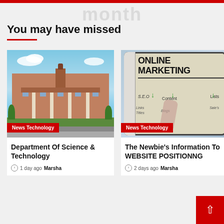month
You may have missed
[Figure (photo): University campus building with brick facade, columns, tower, and landscaped grounds with people sitting on grass]
News Technology
Department Of Science & Technology
1 day ago  Marsha
[Figure (photo): Tablet showing a handwritten mind map about Online Marketing with SEO, Content, Links, Titles, Blogs, Lists, Sales labels and green arrows]
News Technology
The Newbie's Information To WEBSITE POSITIONING
2 days ago  Marsha